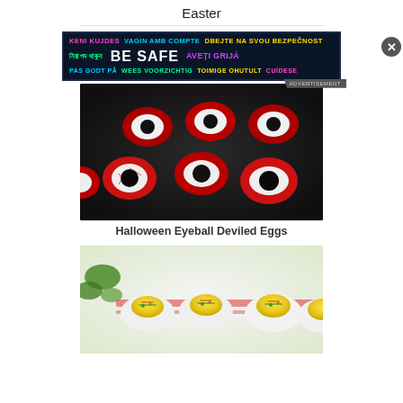Easter
[Figure (photo): Advertisement banner: BE SAFE multilingual safety notice on dark background]
[Figure (photo): Halloween Eyeball Deviled Eggs - red and black decorated deviled eggs on a dark slate board]
Halloween Eyeball Deviled Eggs
[Figure (photo): Deviled eggs with yellow filling garnished with herbs and bacon bits on a white plate]